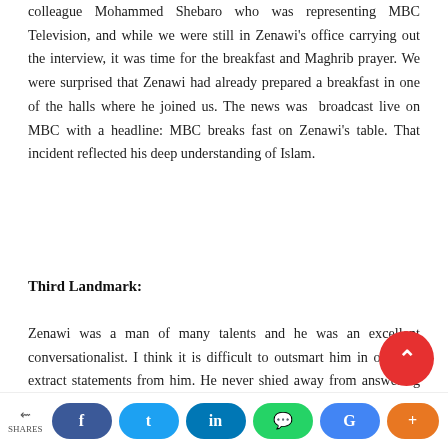colleague Mohammed Shebaro who was representing MBC Television, and while we were still in Zenawi's office carrying out the interview, it was time for the breakfast and Maghrib prayer. We were surprised that Zenawi had already prepared a breakfast in one of the halls where he joined us. The news was broadcast live on MBC with a headline: MBC breaks fast on Zenawi's table. That incident reflected his deep understanding of Islam.
Third Landmark:
Zenawi was a man of many talents and he was an excellent conversationalist. I think it is difficult to outsmart him in order to extract statements from him. He never shied away from answering any question with confidence and a clear vision; and if you looked into his answers you would find it is well layered, clear a...